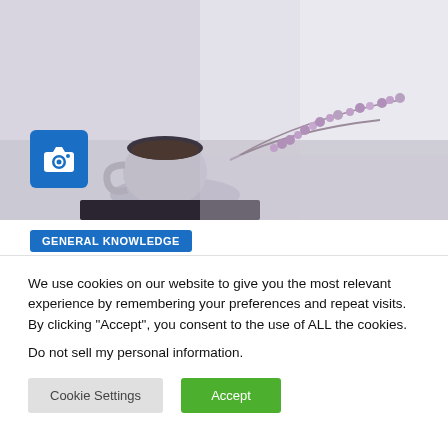[Figure (photo): A teacup with saucer and purple/lavender dried flowers on a table near a window, with soft natural lighting. A blue camera icon badge overlays the bottom-left of the image.]
GENERAL KNOWLEDGE
We use cookies on our website to give you the most relevant experience by remembering your preferences and repeat visits. By clicking “Accept”, you consent to the use of ALL the cookies.
Do not sell my personal information.
Cookie Settings
Accept